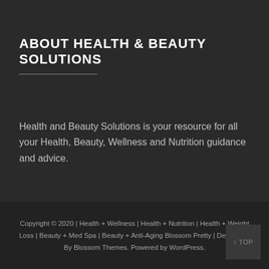ABOUT HEALTH & BEAUTY SOLUTIONS
Health and Beauty Solutions is your resource for all your Health, Beauty, Wellness and Nutrition guidance and advice.
Copyright © 2020 | Health + Wellness | Health + Nutrition | Health + Weight Loss | Beauty + Med Spa | Beauty + Anti-Aging Blossom Pretty | Developed By Blossom Themes. Powered by WordPress.